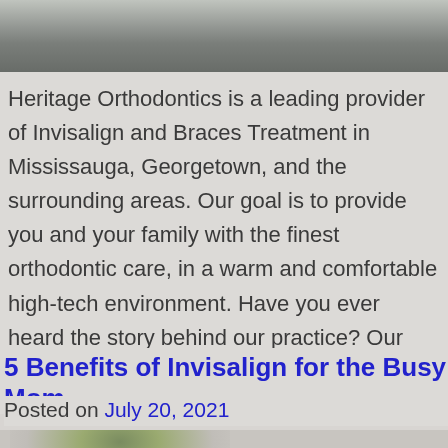[Figure (photo): Blurred outdoor/natural scene at top of page, grayish tones]
Heritage Orthodontics is a leading provider of Invisalign and Braces Treatment in Mississauga, Georgetown, and the surrounding areas. Our goal is to provide you and your family with the finest orthodontic care, in a warm and comfortable high-tech environment. Have you ever heard the story behind our practice? Our tale begins in the early [...]
5 Benefits of Invisalign for the Busy Mom
Posted on July 20, 2021
[Figure (photo): Partial blurred outdoor image at bottom of page, showing some greenery]